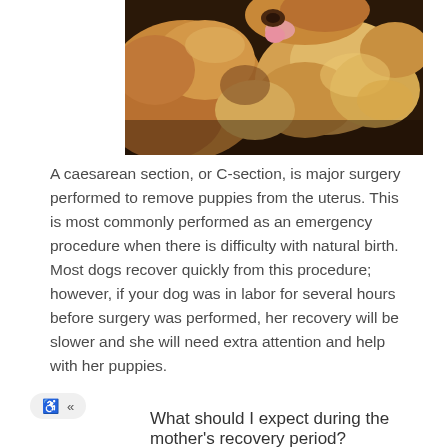[Figure (photo): Photo of a golden retriever mother dog with multiple newborn golden retriever puppies nursing, warm golden-brown tones]
A caesarean section, or C-section, is major surgery performed to remove puppies from the uterus. This is most commonly performed as an emergency procedure when there is difficulty with natural birth. Most dogs recover quickly from this procedure; however, if your dog was in labor for several hours before surgery was performed, her recovery will be slower and she will need extra attention and help with her puppies.
What should I expect during the mother's recovery period?